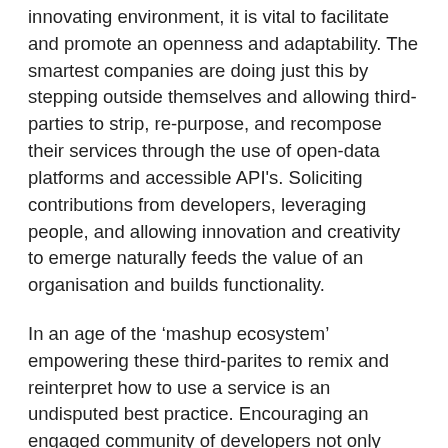innovating environment, it is vital to facilitate and promote an openness and adaptability. The smartest companies are doing just this by stepping outside themselves and allowing third-parties to strip, re-purpose, and recompose their services through the use of open-data platforms and accessible API's. Soliciting contributions from developers, leveraging people, and allowing innovation and creativity to emerge naturally feeds the value of an organisation and builds functionality.
In an age of the ‘mashup ecosystem’ empowering these third-parites to remix and reinterpret how to use a service is an undisputed best practice. Encouraging an engaged community of developers not only creates openness in a platform, but it allows for alternative interfaces, sophisticated tools, and encourages others to do meaningful work for you. The plugins and clients spawned from community contributions doesn’t just address gaps in incomplete solutions, they provide critical new solutions...